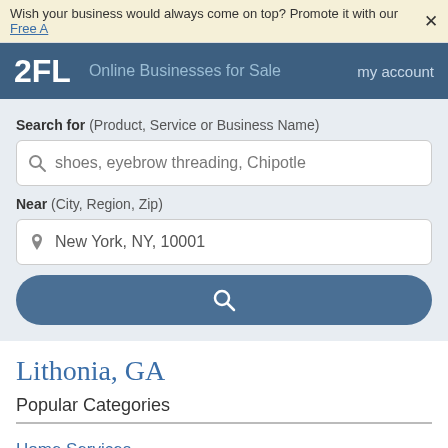Wish your business would always come on top? Promote it with our Free A... ×
2FL  Online Businesses for Sale  my account
Search for (Product, Service or Business Name)
shoes, eyebrow threading, Chipotle
Near (City, Region, Zip)
New York, NY, 10001
Lithonia, GA
Popular Categories
Home Services
Restaurants
Beauty & Spas
Local Services